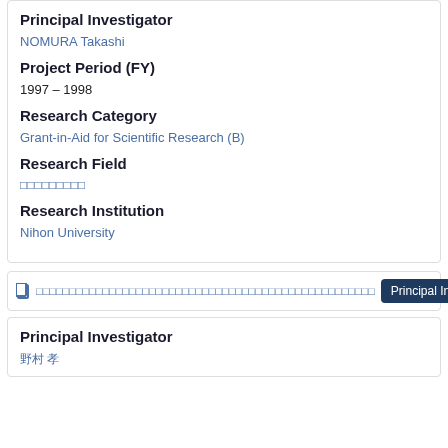Principal Investigator
NOMURA Takashi
Project Period (FY)
1997 – 1998
Research Category
Grant-in-Aid for Scientific Research (B)
Research Field
□□□□□□□□□
Research Institution
Nihon University
□□□□□□□□□□□□□□□□□□□□□□□□□□□□□□□□□□□□□□□□□□□□□□□□□□□□□
Principal Investigator
Principal Investigator
野村 孝